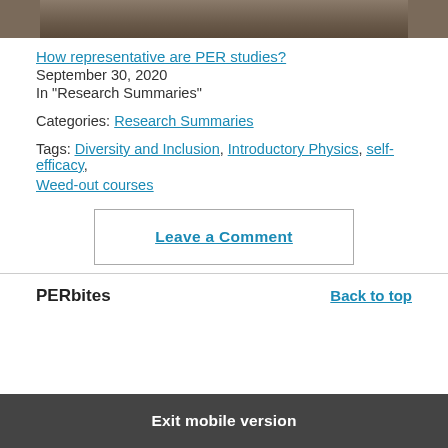[Figure (photo): Partial photo of a dog or animal, cropped at top of page]
How representative are PER studies?
September 30, 2020
In "Research Summaries"
Categories: Research Summaries
Tags: Diversity and Inclusion, Introductory Physics, self-efficacy, Weed-out courses
Leave a Comment
PERbites
Back to top
Exit mobile version